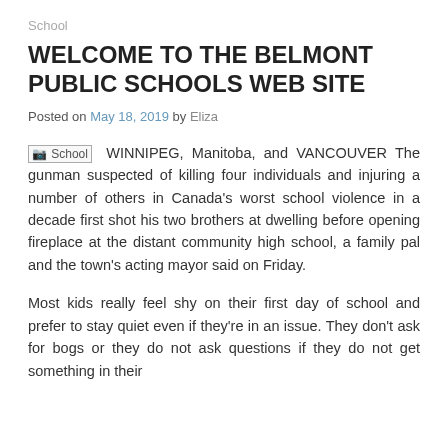School
WELCOME TO THE BELMONT PUBLIC SCHOOLS WEB SITE
Posted on May 18, 2019 by Eliza
School WINNIPEG, Manitoba, and VANCOUVER The gunman suspected of killing four individuals and injuring a number of others in Canada's worst school violence in a decade first shot his two brothers at dwelling before opening fireplace at the distant community high school, a family pal and the town's acting mayor said on Friday.
Most kids really feel shy on their first day of school and prefer to stay quiet even if they're in an issue. They don't ask for bogs or they do not ask questions if they do not get something in their